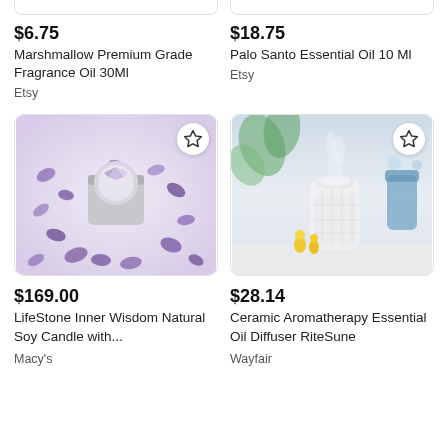$6.75
Marshmallow Premium Grade Fragrance Oil 30Ml
Etsy
$18.75
Palo Santo Essential Oil 10 Ml
Etsy
[Figure (photo): A glass jar candle surrounded by purple amethyst crystals on a white surface]
[Figure (photo): A white ceramic lace-patterned aromatherapy essential oil diffuser emitting mist, with small figurines and flowers in background]
$169.00
LifeStone Inner Wisdom Natural Soy Candle with...
Macy's
$28.14
Ceramic Aromatherapy Essential Oil Diffuser RiteSune
Wayfair